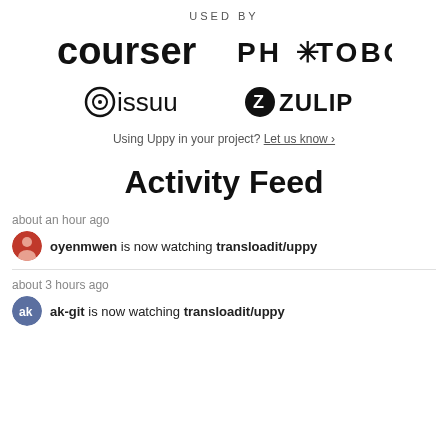USED BY
[Figure (logo): Four company logos: coursera, PHOTOBOX, issuu, ZULIP]
Using Uppy in your project? Let us know ›
Activity Feed
about an hour ago
oyenmwen is now watching transloadit/uppy
about 3 hours ago
ak-git is now watching transloadit/uppy